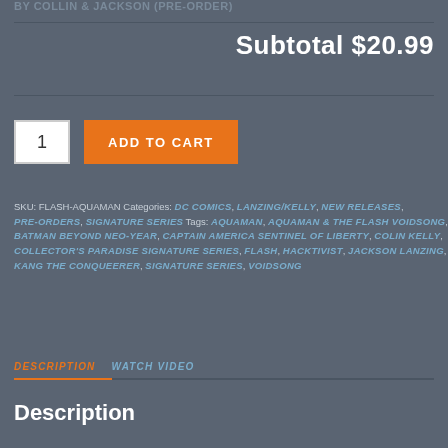BY COLLIN & JACKSON (PRE-ORDER)
Subtotal $20.99
1  ADD TO CART
SKU: FLASH-AQUAMAN Categories: DC COMICS, LANZING/KELLY, NEW RELEASES, PRE-ORDERS, SIGNATURE SERIES Tags: AQUAMAN, AQUAMAN & THE FLASH VOIDSONG, BATMAN BEYOND NEO-YEAR, CAPTAIN AMERICA SENTINEL OF LIBERTY, COLIN KELLY, COLLECTOR'S PARADISE SIGNATURE SERIES, FLASH, HACKTIVIST, JACKSON LANZING, KANG THE CONQUEROR, SIGNATURE SERIES, VOIDSONG
DESCRIPTION  WATCH VIDEO
Description